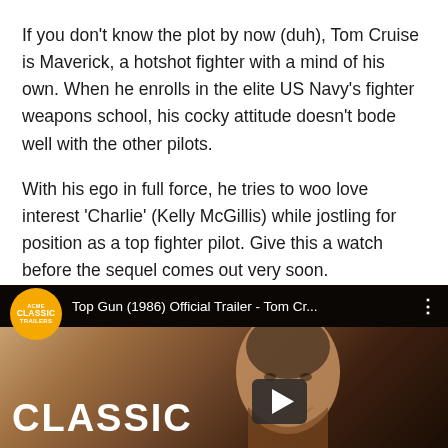If you don't know the plot by now (duh), Tom Cruise is Maverick, a hotshot fighter with a mind of his own. When he enrolls in the elite US Navy's fighter weapons school, his cocky attitude doesn't bode well with the other pilots.
With his ego in full force, he tries to woo love interest 'Charlie' (Kelly McGillis) while jostling for position as a top fighter pilot. Give this a watch before the sequel comes out very soon.
[Figure (screenshot): YouTube video thumbnail for 'Top Gun (1986) Official Trailer - Tom Cr...' from Classic Trailers channel. Shows a man's face (Tom Cruise) with warm, dramatic lighting. A yellow circular channel badge is visible top-left. The word CLASSIC appears in large white bold text at the bottom with a play button icon.]